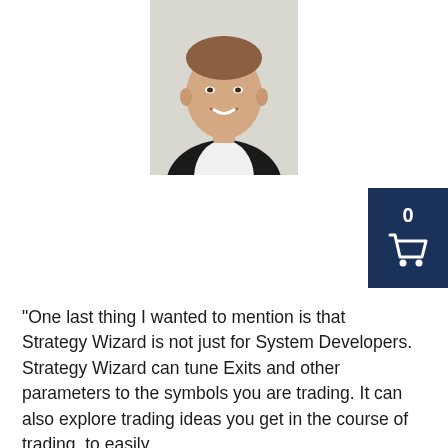[Figure (photo): Headshot of a smiling middle-aged man wearing a dark blazer and white shirt, light background]
[Figure (other): Dark navy blue shopping cart button widget showing the number 0 and a cart icon]
“One last thing I wanted to mention is that Strategy Wizard is not just for System Developers. Strategy Wizard can tune Exits and other parameters to the symbols you are trading. It can also explore trading ideas you get in the course of trading, to easily